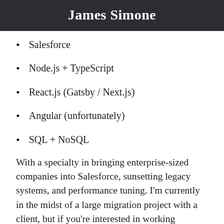James Simone
Salesforce
Node.js + TypeScript
React.js (Gatsby / Next.js)
Angular (unfortunately)
SQL + NoSQL
With a specialty in bringing enterprise-sized companies into Salesforce, sunsetting legacy systems, and performance tuning. I'm currently in the midst of a large migration project with a client, but if you're interested in working